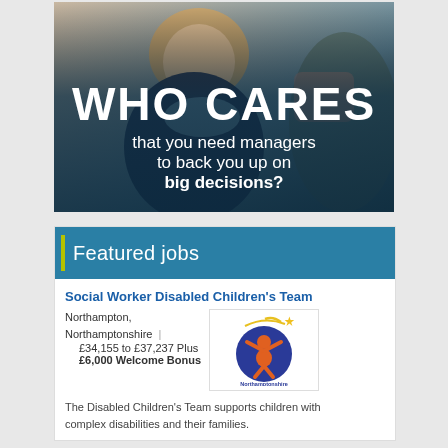[Figure (photo): Photo of a smiling woman with curly blonde hair wearing a dark blue jacket and patterned scarf, overlaid with text 'WHO CARES that you need managers to back you up on big decisions?']
Featured jobs
Social Worker Disabled Children's Team
Northampton, Northamptonshire | £34,155 to £37,237 Plus £6,000 Welcome Bonus
[Figure (logo): Northamptonshire Children's Trust logo — orange figure with arms raised inside a blue circle, yellow shooting star above, text 'Northamptonshire Children's Trust' below]
The Disabled Children's Team supports children with complex disabilities and their families.